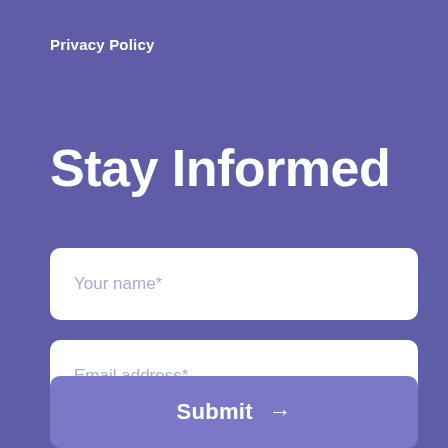Privacy Policy
Stay Informed
Your name*
Email address*
Submit →